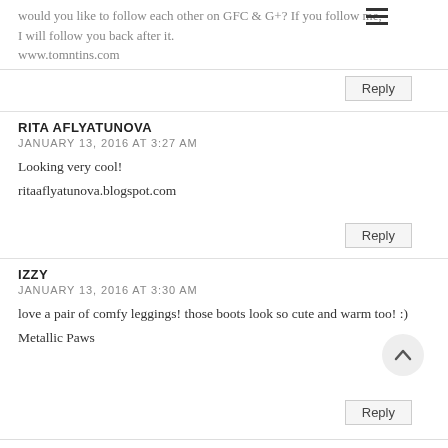would you like to follow each other on GFC & G+? If you follow me, I will follow you back after it.
www.tomntins.com
Reply
RITA AFLYATUNOVA
JANUARY 13, 2016 AT 3:27 AM
Looking very cool!
ritaaflyatunova.blogspot.com
Reply
IZZY
JANUARY 13, 2016 AT 3:30 AM
love a pair of comfy leggings! those boots look so cute and warm too! :)
Metallic Paws
Reply